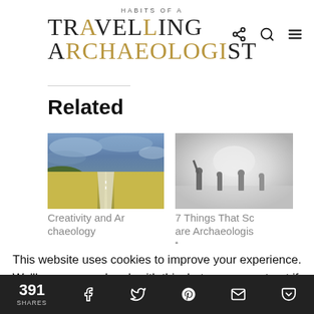HABITS OF A TRAVELLING ARCHAEOLOGIST
Related
[Figure (photo): A road stretching into the distance through yellow fields under a cloudy blue sky]
Creativity and Archaeology
[Figure (photo): Black and white foggy scene with silhouettes of people working in a field]
7 Things That Scare Archaeologists
This website uses cookies to improve your experience. We'll assume you're ok with this, but you can opt-out if you wish.
391 SHARES